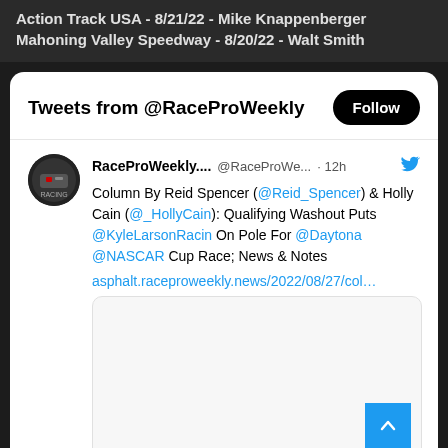Action Track USA - 8/21/22 - Mike Knappenberger Mahoning Valley Speedway - 8/20/22 - Walt Smith
Tweets from @RaceProWeekly
RaceProWeekly.... @RaceProWe... · 12h
Column By Reid Spencer (@Reid_Spencer) & Holly Cain (@_HollyCain): Qualifying Washout Puts @KyleLarsonRacin On Pole For @Daytona @NASCAR Cup Race; News & Notes asphalt.raceproweekly.news/2022/08/27/col...
[Figure (screenshot): Embedded tweet image preview box (blank/loading)]